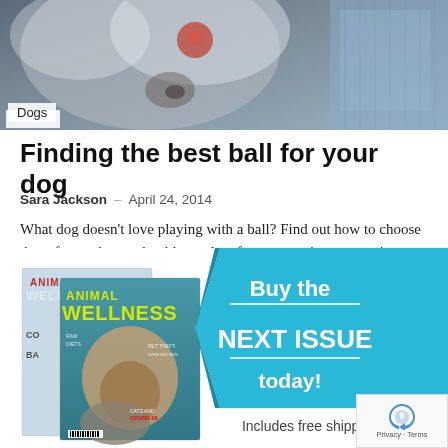[Figure (photo): Dog with a ball and a stuffed toy, close-up photo used as article hero image]
Dogs
Finding the best ball for your dog
Sara Jackson  ·  April 24, 2014
What dog doesn't love playing with a ball? Find out how to choose the safest and most durable product for your canine companion. "Who wants...
[Figure (illustration): Animal Wellness magazine covers advertisement: Buy the NEXT ISSUE today! Includes free shipping]